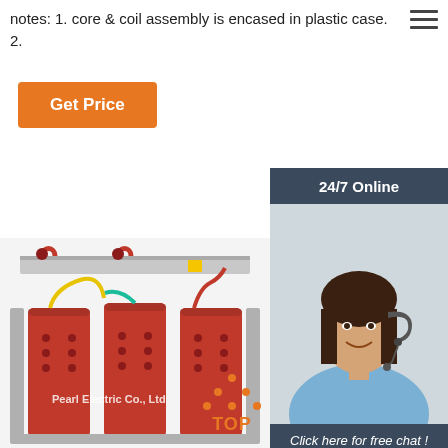notes: 1. core & coil assembly is encased in plastic case. 2.
[Figure (illustration): Orange 'Get Price' button]
[Figure (photo): Customer service agent photo with headset, smiling woman, with '24/7 Online' header, 'Click here for free chat!' text and orange 'QUOTATION' button on dark blue panel]
[Figure (photo): Industrial dry-type three-phase transformer with red coils, colored wiring (yellow, red, teal), metal frame, watermark 'Pearl Electric Co., Ltd']
[Figure (other): Orange 'TOP' badge with dot-triangle icon]